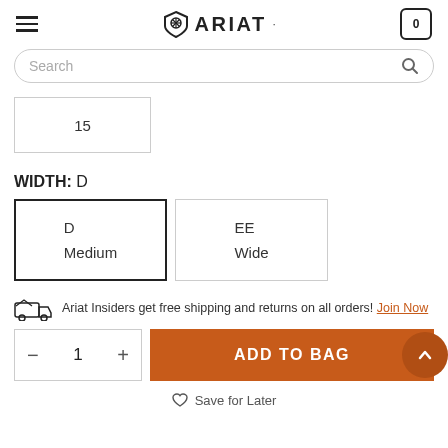ARIAT
| 15 |
WIDTH: D
| D
Medium | EE
Wide |
Ariat Insiders get free shipping and returns on all orders! Join Now
− 1 +  ADD TO BAG
Save for Later